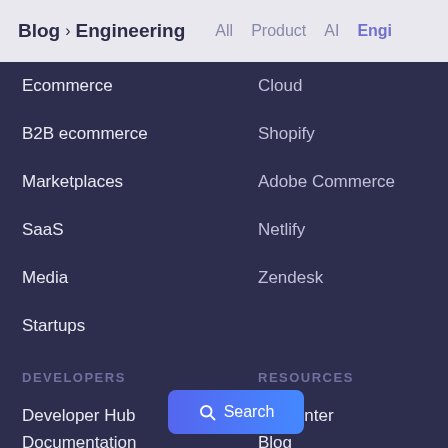Blog > Engineering    All    Product    AI    Engi
Cloud
Ecommerce
Shopify
B2B ecommerce
Adobe Commerce
Marketplaces
Netlify
SaaS
Zendesk
Media
Startups
Developers
Resources
Developer Hub
rce center
Documentation
Blog